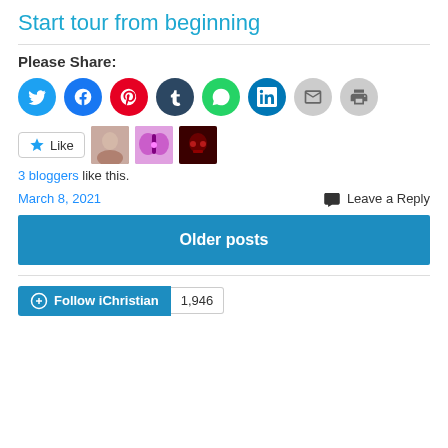Start tour from beginning
Please Share:
[Figure (infographic): Social sharing icons: Twitter (blue), Facebook (blue), Pinterest (red), Tumblr (dark blue), WhatsApp (green), LinkedIn (teal), Email (grey), Print (grey)]
[Figure (infographic): Like button with star icon and 3 blogger avatar thumbnails]
3 bloggers like this.
March 8, 2021    Leave a Reply
Older posts
Follow iChristian  1,946